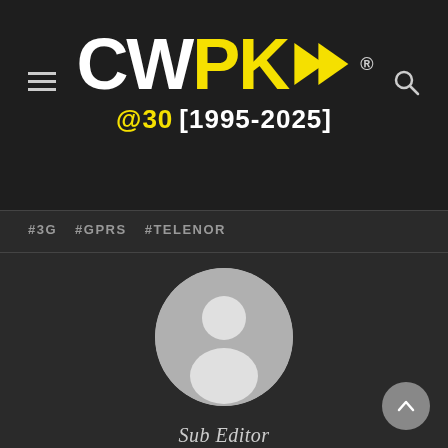[Figure (logo): CWPK logo with arrows, @30 [1995-2025] tagline on dark background]
#3G
#GPRS
#TELENOR
[Figure (illustration): Default user avatar placeholder — grey circle with white silhouette of a person]
Sub Editor